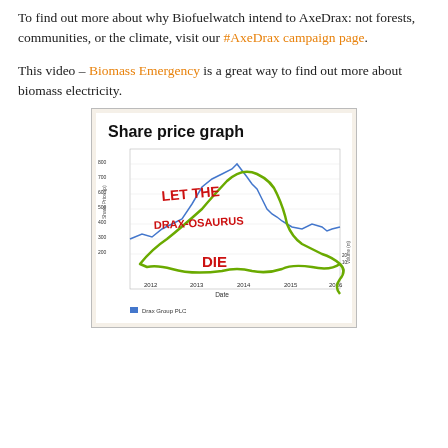To find out more about why Biofuelwatch intend to AxeDrax: not forests, communities, or the climate, visit our #AxeDrax campaign page.
This video – Biomass Emergency is a great way to find out more about biomass electricity.
[Figure (photo): A photo of a printed share price graph for Drax Group PLC showing share price (p) and volume (m) from 2012 to 2016. The chart has been hand-annotated with green marker drawing a dinosaur shape over the line graph, and red text reading 'LET THE DRAX-OSAURUS DIE'.]